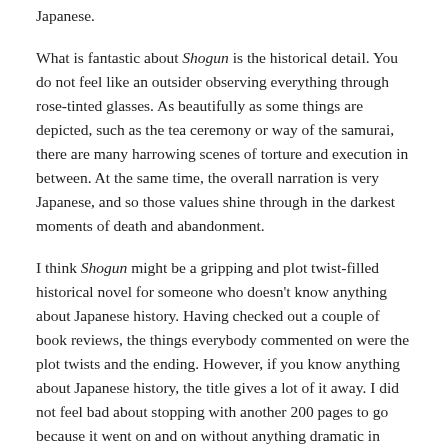Japanese.
What is fantastic about Shogun is the historical detail. You do not feel like an outsider observing everything through rose-tinted glasses. As beautifully as some things are depicted, such as the tea ceremony or way of the samurai, there are many harrowing scenes of torture and execution in between. At the same time, the overall narration is very Japanese, and so those values shine through in the darkest moments of death and abandonment.
I think Shogun might be a gripping and plot twist-filled historical novel for someone who doesn’t know anything about Japanese history. Having checked out a couple of book reviews, the things everybody commented on were the plot twists and the ending. However, if you know anything about Japanese history, the title gives a lot of it away. I did not feel bad about stopping with another 200 pages to go because it went on and on without anything dramatic in between. It starts off strongly and has a lot to teach about everyday Japanese life in that period so, if you’re thinking of writing your own novel, it’s definitely worth checking out.
However, I appear to be in a minority of people who did not finish the book. Clavell is the celebrated author of the ‘Asia series’ and Shogun